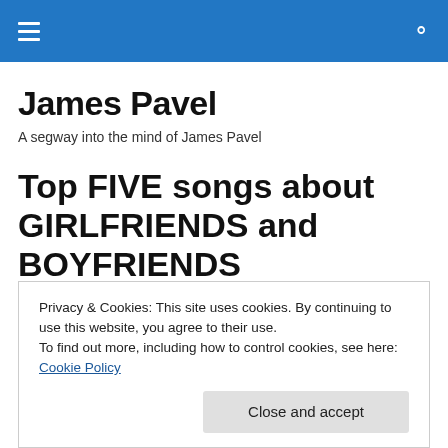James Pavel
A segway into the mind of James Pavel
Top FIVE songs about GIRLFRIENDS and BOYFRIENDS
Privacy & Cookies: This site uses cookies. By continuing to use this website, you agree to their use.
To find out more, including how to control cookies, see here: Cookie Policy